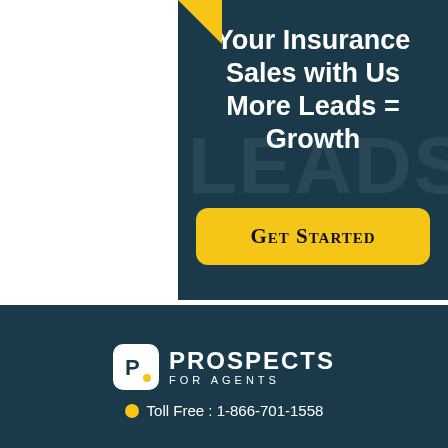[Figure (illustration): Insurance sales advertisement banner with dark teal background. White bold text reads 'Your Insurance Sales with Us More Leads = Growth'. Yellow rounded rectangle button with text 'Get Started'. Faint 'LEADS' watermark in background. Yellow triangle in top corner.]
Your Insurance Sales with Us More Leads = Growth
Get Started
[Figure (logo): Prospects For Agents logo on dark teal background. White rounded-square P icon with yellow dot, next to white bold text PROSPECTS with FOR AGENTS in smaller spaced letters below.]
Toll Free : 1-866-701-1558